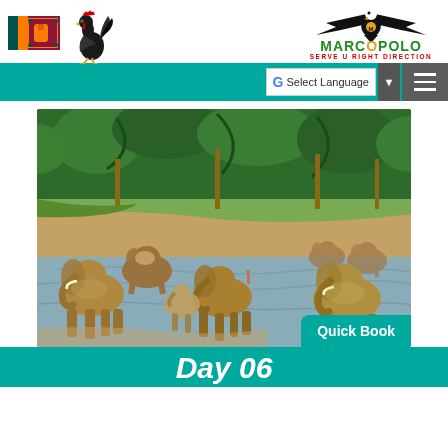[Figure (logo): Sri Lanka flag icon]
[Figure (illustration): Rooster/cockerel illustration]
[Figure (logo): Marco Polo travel agency logo with eagle, green text MARCOPOLO, red tagline SERVE U RIGHT DIRECTION]
Select Language
[Figure (photo): Large herd of elephants bathing and walking through a river with palm trees and green vegetation in the background. Sri Lanka elephant orphanage scene.]
Quick Book
Day 06